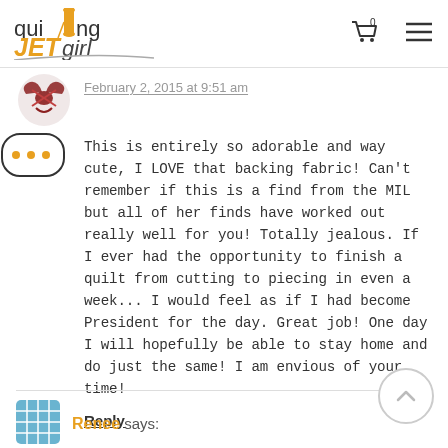[Figure (logo): Quilting JET girl logo with spool icon]
February 2, 2015 at 9:51 am
This is entirely so adorable and way cute, I LOVE that backing fabric! Can't remember if this is a find from the MIL but all of her finds have worked out really well for you! Totally jealous. If I ever had the opportunity to finish a quilt from cutting to piecing in even a week... I would feel as if I had become President for the day. Great job! One day I will hopefully be able to stay home and do just the same! I am envious of your time!
Reply
Renee says: